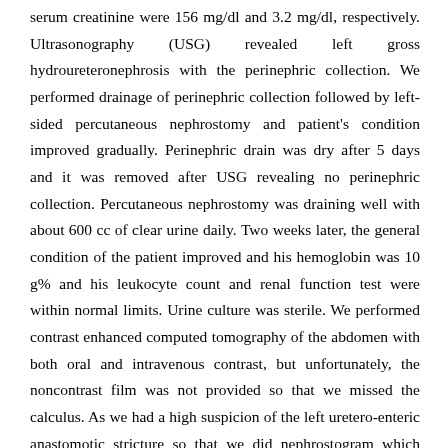serum creatinine were 156 mg/dl and 3.2 mg/dl, respectively. Ultrasonography (USG) revealed left gross hydroureteronephrosis with the perinephric collection. We performed drainage of perinephric collection followed by left-sided percutaneous nephrostomy and patient's condition improved gradually. Perinephric drain was dry after 5 days and it was removed after USG revealing no perinephric collection. Percutaneous nephrostomy was draining well with about 600 cc of clear urine daily. Two weeks later, the general condition of the patient improved and his hemoglobin was 10 g% and his leukocyte count and renal function test were within normal limits. Urine culture was sterile. We performed contrast enhanced computed tomography of the abdomen with both oral and intravenous contrast, but unfortunately, the noncontrast film was not provided so that we missed the calculus. As we had a high suspicion of the left uretero-enteric anastomotic stricture so that we did nephrostogram which revealed a huge calculus of size 9 cm × 5 cm in the ileal conduit. Then, we took the patient for endoscopic removal of calculus by the rigid endoscope through stoma site, but we could not negotiate the endoscope up to calculus. Then, we performed open surgery through midline intraperitoneal approach by incising the conduit over the antimesenteric border and total removal of calculus was done by pneumatic lithoclast fragmentation. During exploration, we found nonstenotic normal left